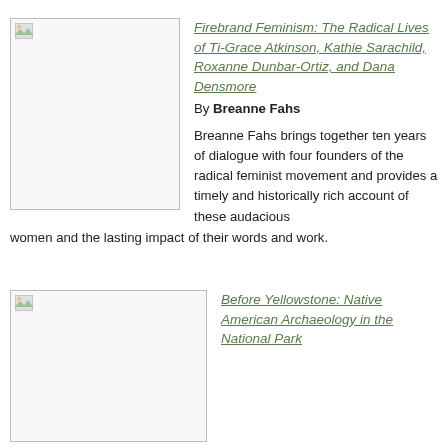[Figure (illustration): Book cover image placeholder for Firebrand Feminism]
Firebrand Feminism: The Radical Lives of Ti-Grace Atkinson, Kathie Sarachild, Roxanne Dunbar-Ortiz, and Dana Densmore
By Breanne Fahs
Breanne Fahs brings together ten years of dialogue with four founders of the radical feminist movement and provides a timely and historically rich account of these audacious women and the lasting impact of their words and work.
[Figure (illustration): Book cover image placeholder for Before Yellowstone]
Before Yellowstone: Native American Archaeology in the National Park